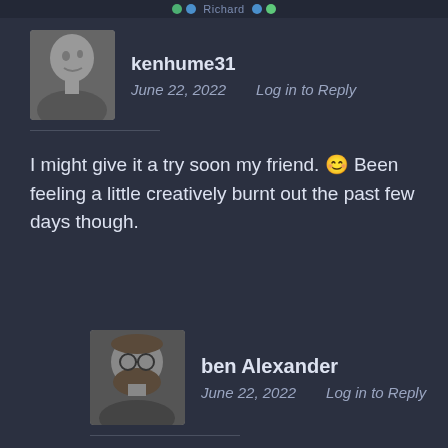Richard
kenhume31
June 22, 2022    Log in to Reply
I might give it a try soon my friend. 😊 Been feeling a little creatively burnt out the past few days though.
ben Alexander
June 22, 2022    Log in to Reply